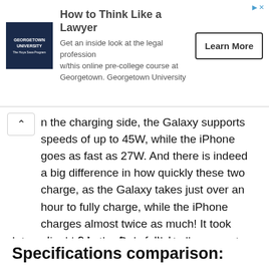[Figure (screenshot): Advertisement banner for Georgetown University online pre-college course 'How to Think Like a Lawyer' with university logo, description text, and a 'Learn More' button.]
n the charging side, the Galaxy supports speeds of up to 45W, while the iPhone goes as fast as 27W. And there is indeed a big difference in how quickly these two charge, as the Galaxy takes just over an hour to fully charge, while the iPhone charges almost twice as much! It took almost 2 hours for a full charge.
Interestingly, it is the Galaxy that allows you to use its charge to give to a third-party device via reverse wireless charging. Turn on the feature, place something like a smartwatch or compatible wireless earbuds on top of the phone and they’ll miraculously charge, a trick the iPhone can’t do.
Specifications comparison: